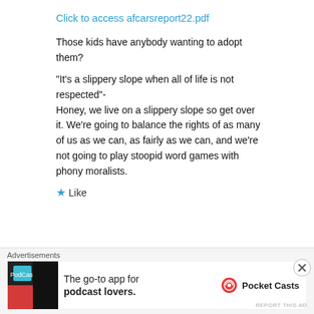Click to access afcarsreport22.pdf
Those kids have anybody wanting to adopt them?
“It’s a slippery slope when all of life is not respected”- Honey, we live on a slippery slope so get over it. We’re going to balance the rights of as many of us as we can, as fairly as we can, and we’re not going to play stoopid word games with phony moralists.
★ Like
Advertisements
[Figure (screenshot): Advertisement banner for Pocket Casts podcast app with logo and text 'The go-to app for podcast lovers.']